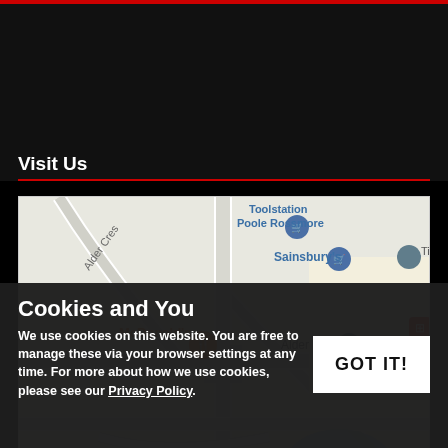Visit Us
[Figure (map): Google Maps view showing area around Moore Speed Racing, Poole Rossmore. Landmarks include Toolstation Poole Rossmore, Sainsbury's, McDonald's, Alder Park, Cakes By Ana, and a blue pond/lake. Road labels: Alder Cres, Sharp Rd, Winston G...]
Cookies and You
We use cookies on this website. You are free to manage these via your browser settings at any time. For more about how we use cookies, please see our Privacy Policy.